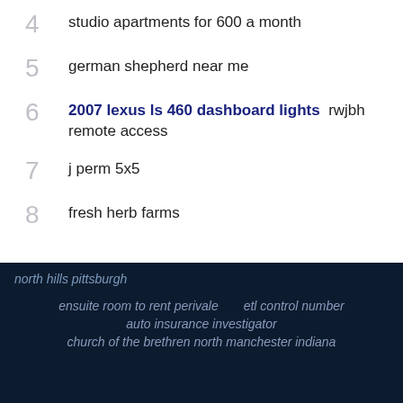4  studio apartments for 600 a month
5  german shepherd near me
6  2007 lexus ls 460 dashboard lights  rwjbh remote access
7  j perm 5x5
8  fresh herb farms
north hills pittsburgh
ensuite room to rent perivale   etl control number   auto insurance investigator   church of the brethren north manchester indiana